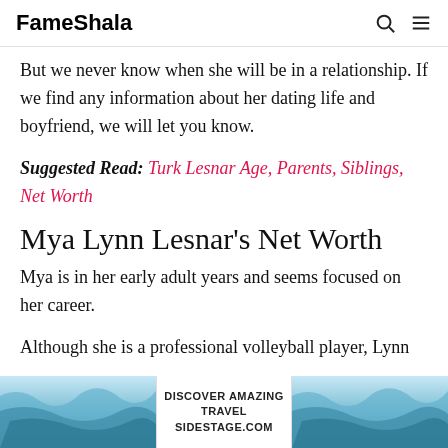FameShala
But we never know when she will be in a relationship. If we find any information about her dating life and boyfriend, we will let you know.
Suggested Read: Turk Lesnar Age, Parents, Siblings, Net Worth
Mya Lynn Lesnar's Net Worth
Mya is in her early adult years and seems focused on her career.
Although she is a professional volleyball player, Lynn
[Figure (other): Advertisement banner for Alaska travel on sidestage.com with glacier/ice imagery and text DISCOVER AMAZING TRAVEL SIDESTAGE.COM]